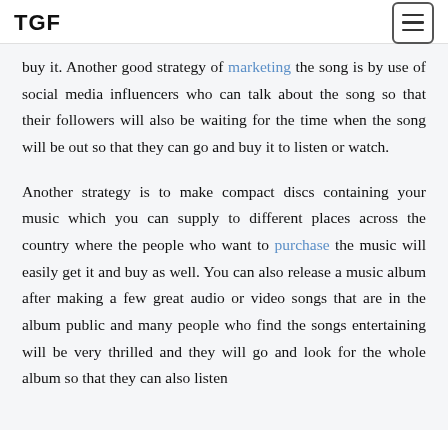TGF
buy it. Another good strategy of marketing the song is by use of social media influencers who can talk about the song so that their followers will also be waiting for the time when the song will be out so that they can go and buy it to listen or watch.

Another strategy is to make compact discs containing your music which you can supply to different places across the country where the people who want to purchase the music will easily get it and buy as well. You can also release a music album after making a few great audio or video songs that are in the album public and many people who find the songs entertaining will be very thrilled and they will go and look for the whole album so that they can also listen